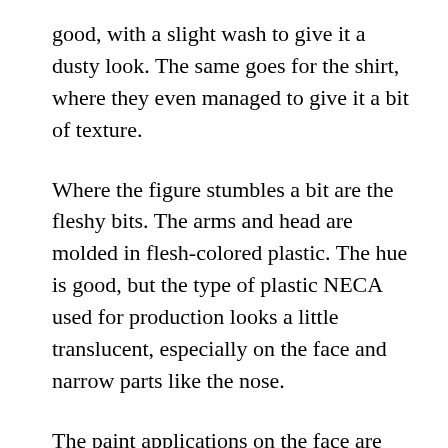good, with a slight wash to give it a dusty look. The same goes for the shirt, where they even managed to give it a bit of texture.
Where the figure stumbles a bit are the fleshy bits. The arms and head are molded in flesh-colored plastic. The hue is good, but the type of plastic NECA used for production looks a little translucent, especially on the face and narrow parts like the nose.
The paint applications on the face are good; even the five-o’clock shadow is fairly well done, and that tends to look bad on many action figures. But the blood on the right arm looks odd; the shade of red looks a little too dark, and the way it’s applied looks less like streaks